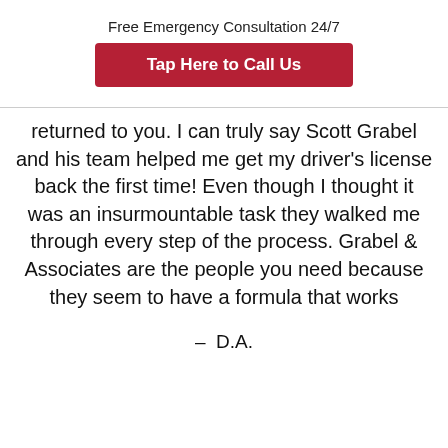Free Emergency Consultation 24/7
Tap Here to Call Us
returned to you. I can truly say Scott Grabel and his team helped me get my driver’s license back the first time! Even though I thought it was an insurmountable task they walked me through every step of the process. Grabel & Associates are the people you need because they seem to have a formula that works
–  D.A.